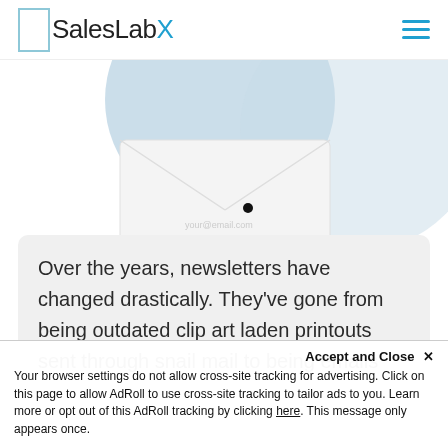SalesLabX
[Figure (illustration): Partial illustration of abstract shapes — light blue curved shapes and a white envelope-like form with a small black dot, centered in the upper portion of the page.]
Over the years, newsletters have changed drastically. They've gone from being outdated clip art laden printouts sent through snail mail to being emails
Accept and Close ✕
Your browser settings do not allow cross-site tracking for advertising. Click on this page to allow AdRoll to use cross-site tracking to tailor ads to you. Learn more or opt out of this AdRoll tracking by clicking here. This message only appears once.